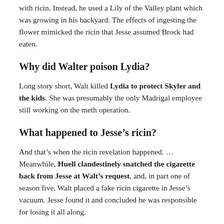with ricin. Instead, he used a Lily of the Valley plant which was growing in his backyard. The effects of ingesting the flower mimicked the ricin that Jesse assumed Brock had eaten.
Why did Walter poison Lydia?
Long story short, Walt killed Lydia to protect Skyler and the kids. She was presumably the only Madrigal employee still working on the meth operation.
What happened to Jesse’s ricin?
And that’s when the ricin revelation happened. … Meanwhile, Huell clandestinely snatched the cigarette back from Jesse at Walt’s request, and, in part one of season five, Walt placed a fake ricin cigarette in Jesse’s vacuum. Jesse found it and concluded he was responsible for losing it all along.